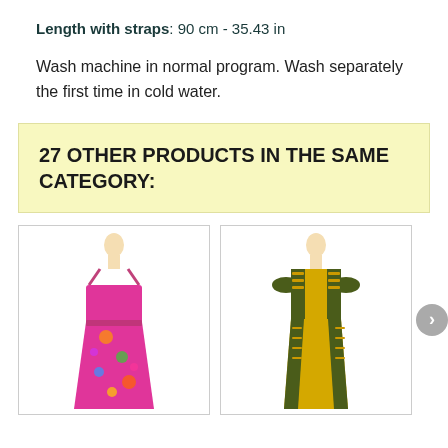Length with straps: 90 cm - 35.43 in
Wash machine in normal program. Wash separately the first time in cold water.
27 OTHER PRODUCTS IN THE SAME CATEGORY:
[Figure (photo): Pink floral printed maxi dress on mannequin]
[Figure (photo): Yellow and olive green traditional printed dress on mannequin]